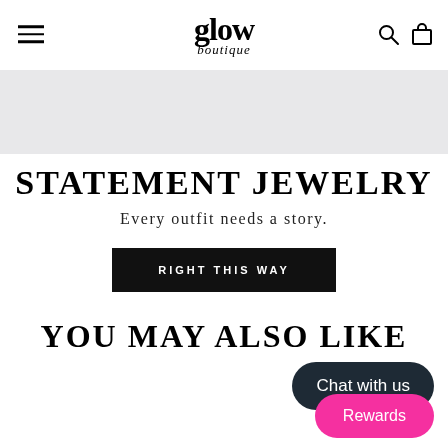glow boutique
[Figure (screenshot): Gray banner placeholder image area]
STATEMENT JEWELRY
Every outfit needs a story.
RIGHT THIS WAY
YOU MAY ALSO LIKE
Chat with us
Rewards